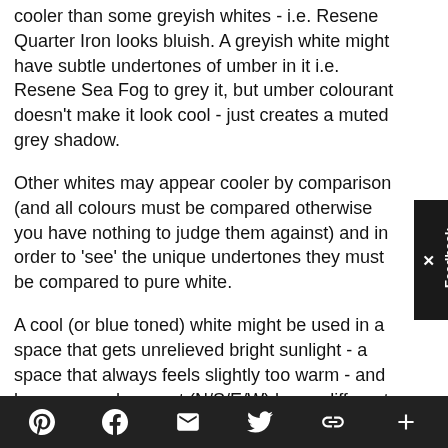cooler than some greyish whites - i.e. Resene Quarter Iron looks bluish. A greyish white might have subtle undertones of umber in it i.e. Resene Sea Fog to grey it, but umber colourant doesn't make it look cool - just creates a muted grey shadow.
Other whites may appear cooler by comparison (and all colours must be compared otherwise you have nothing to judge them against) and in order to 'see' the unique undertones they must be compared to pure white.
A cool (or blue toned) white might be used in a space that gets unrelieved bright sunlight - a space that always feels slightly too warm - and because each aspect (N/S/E/W) has a different type of natural light the space that gets unrelieved bright hot light could be the West facing room.
A blackish white may be either warm or cool. Because
Pinterest Facebook Email Twitter Link +